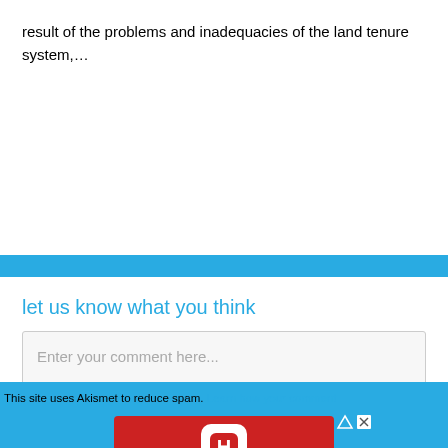result of the problems and inadequacies of the land tenure system,...
let us know what you think
Enter your comment here...
This site uses Akismet to reduce spam. Learn how your comment
[Figure (screenshot): Hotels.com advertisement banner with red background, Hotels.com logo and icon, and BOOK NOW button]